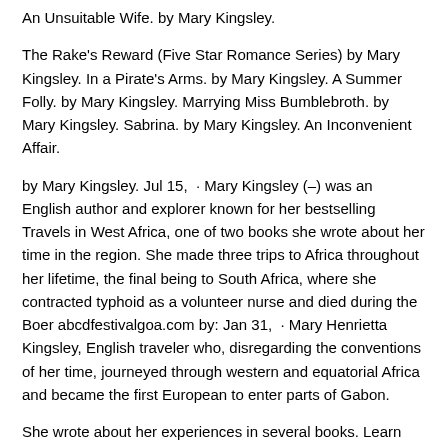An Unsuitable Wife. by Mary Kingsley.
The Rake's Reward (Five Star Romance Series) by Mary Kingsley. In a Pirate's Arms. by Mary Kingsley. A Summer Folly. by Mary Kingsley. Marrying Miss Bumblebroth. by Mary Kingsley. Sabrina. by Mary Kingsley. An Inconvenient Affair.
by Mary Kingsley. Jul 15,  · Mary Kingsley (–) was an English author and explorer known for her bestselling Travels in West Africa, one of two books she wrote about her time in the region. She made three trips to Africa throughout her lifetime, the final being to South Africa, where she contracted typhoid as a volunteer nurse and died during the Boer abcdfestivalgoa.com by: Jan 31,  · Mary Henrietta Kingsley, English traveler who, disregarding the conventions of her time, journeyed through western and equatorial Africa and became the first European to enter parts of Gabon.
She wrote about her experiences in several books. Learn more about her life and travels. Kingsley wrote two books about her experiences: Travels in West Africa (), which was an immediate best-seller, and West African Studies (), both of which granted her vast respect and